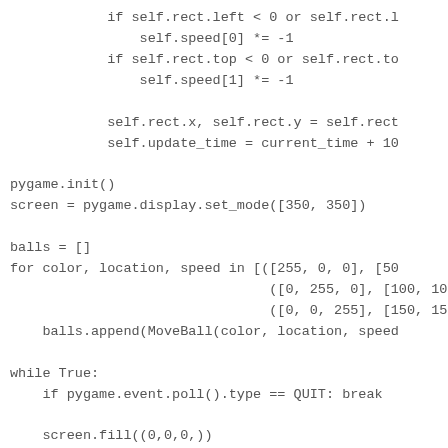Code snippet showing Python pygame ball animation code including conditional boundary checks, initialization, ball list population with color/location/speed tuples, and a while True game loop with event polling, screen fill, time retrieval, and per-ball update/blit calls.